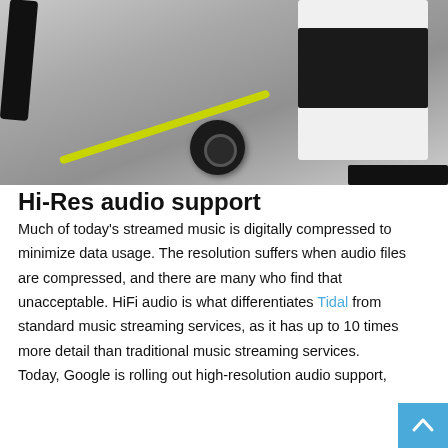[Figure (photo): Photo showing the back of a white speaker with a yellow-green cable connected to a round black Chromecast Audio device. Black cables also visible plugged into the speaker's back panel.]
Hi-Res audio support
Much of today's streamed music is digitally compressed to minimize data usage. The resolution suffers when audio files are compressed, and there are many who find that unacceptable. HiFi audio is what differentiates Tidal from standard music streaming services, as it has up to 10 times more detail than traditional music streaming services. Today, Google is rolling out high-resolution audio support,